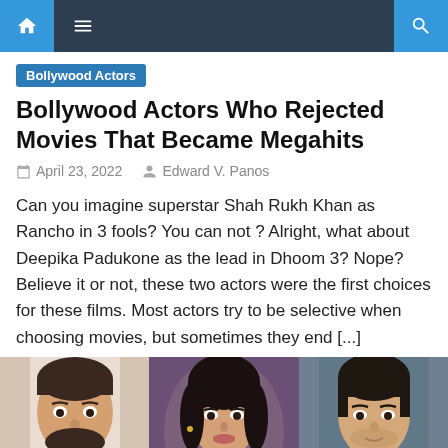Navigation bar with home, menu, and search icons
Bollywood Actors
Bollywood Actors Who Rejected Movies That Became Megahits
April 23, 2022   Edward V. Panos
Can you imagine superstar Shah Rukh Khan as Rancho in 3 fools? You can not ? Alright, what about Deepika Padukone as the lead in Dhoom 3? Nope? Believe it or not, these two actors were the first choices for these films. Most actors try to be selective when choosing movies, but sometimes they end [...]
[Figure (photo): Three Bollywood actors side by side: a man with dark hair and beard on left, a woman with dark hair and makeup in center, and a man with slicked back dark hair on right]